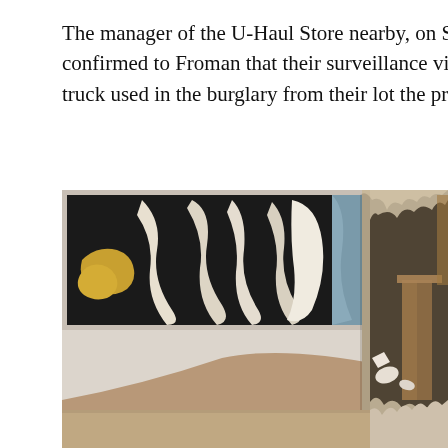The manager of the U-Haul Store nearby, on SE Powell Bouleva confirmed to Froman that their surveillance video cameras recor truck used in the burglary from their lot the previous Sunday nig
[Figure (photo): Interior room photo showing a wall with an abstract painting (black, white, yellow/gold shapes on dark background) hanging on it, and a large jagged hole broken through the drywall on the right side, revealing a wooden table/furniture behind it. The room has a smooth light-colored wall and hardwood floor visible.]